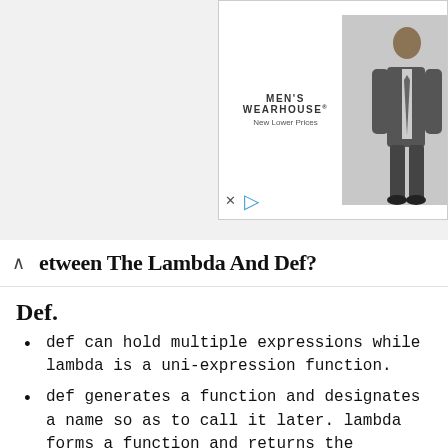[Figure (photo): Men's Wearhouse advertisement showing a man in a grey suit with the text 'MEN'S WEARHOUSE New Lower Prices']
etween The Lambda And Def?
Def.
def can hold multiple expressions while lambda is a uni-expression function.
def generates a function and designates a name so as to call it later. lambda forms a function and returns the function itself.
def can have a return statement. lambda can't have return statements
Lambda